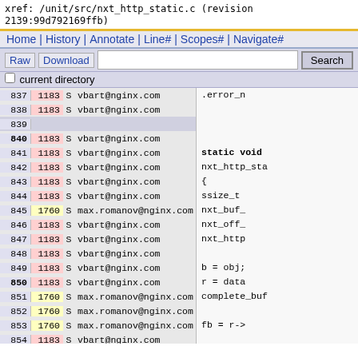xref: /unit/src/nxt_http_static.c (revision 2139:99d792169ffb)
Home | History | Annotate | Line# | Scopes# | Navigate#
Raw | Download  [Search]  current directory
| line | rev | flag | author | code |
| --- | --- | --- | --- | --- |
| 837 | 1183 | S | vbart@nginx.com | .error_n |
| 838 | 1183 | S | vbart@nginx.com |  |
| 839 |  |  | current directory |  |
| 840 | 1183 | S | vbart@nginx.com |  |
| 841 | 1183 | S | vbart@nginx.com | static void |
| 842 | 1183 | S | vbart@nginx.com | nxt_http_sta |
| 843 | 1183 | S | vbart@nginx.com | { |
| 844 | 1183 | S | vbart@nginx.com |     ssize_t |
| 845 | 1760 | S | max.romanov@nginx.com |     nxt_buf_ |
| 846 | 1183 | S | vbart@nginx.com |     nxt_off_ |
| 847 | 1183 | S | vbart@nginx.com |     nxt_http |
| 848 | 1183 | S | vbart@nginx.com |  |
| 849 | 1183 | S | vbart@nginx.com |     b = obj; |
| 850 | 1183 | S | vbart@nginx.com |     r = data |
| 851 | 1760 | S | max.romanov@nginx.com | complete_buf |
| 852 | 1760 | S | max.romanov@nginx.com |  |
| 853 | 1760 | S | max.romanov@nginx.com |     fb = r-> |
| 854 | 1183 | S | vbart@nginx.com |  |
| 855 | 1183 | S | vbart@nginx.com |     if (nxt_ |
| 856 | 1183 | S | vbart@nginx.com |         goto |
| 857 | 1183 | S | vbart@nginx.com |     } |
| 858 | 1183 | S | vbart@nginx.com |  |
| 859 | 1183 | S | vbart@nginx.com |     rest = f |
| 860 | 1183 | S | vbart@nginx.com |     size = n |
| 861 | 1183 | S | vbart@nginx.com |  |
| 862 | 1183 | S | vbart@nginx.com |  |